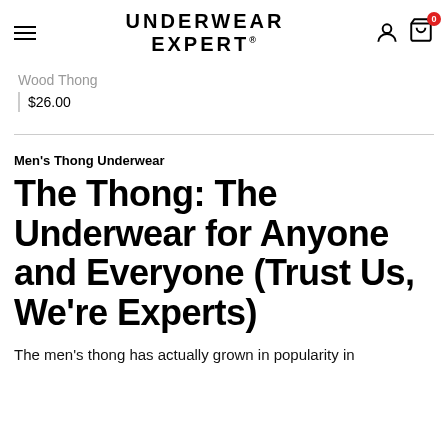UNDERWEAR EXPERT
Wood Thong
$26.00
Men's Thong Underwear
The Thong: The Underwear for Anyone and Everyone (Trust Us, We’re Experts)
The men’s thong has actually grown in popularity in